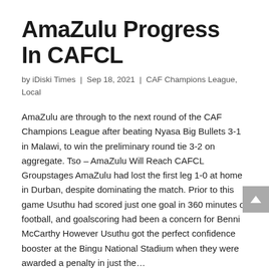AmaZulu Progress In CAFCL
by iDiski Times  |  Sep 18, 2021  |  CAF Champions League, Local
AmaZulu are through to the next round of the CAF Champions League after beating Nyasa Big Bullets 3-1 in Malawi, to win the preliminary round tie 3-2 on aggregate. Tso – AmaZulu Will Reach CAFCL Groupstages AmaZulu had lost the first leg 1-0 at home in Durban, despite dominating the match. Prior to this game Usuthu had scored just one goal in 360 minutes of football, and goalscoring had been a concern for Benni McCarthy However Usuthu got the perfect confidence booster at the Bingu National Stadium when they were awarded a penalty in just the...